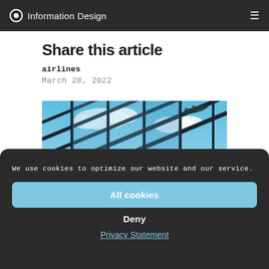Information Design
Share this article
airlines
March 28, 2022
[Figure (photo): Airport terminal with large glass ceiling panels reflecting blue sky and clouds, airplane visible in upper right corner]
We use cookies to optimize our website and our service.
All cookies
Deny
Privacy Statement